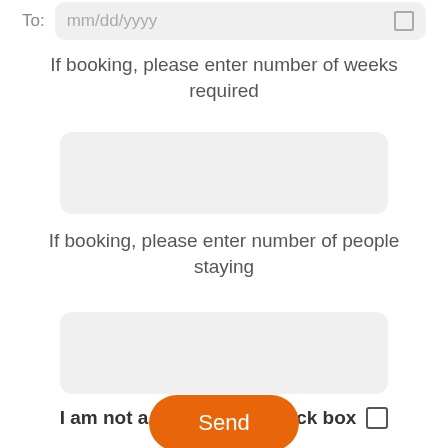[Figure (other): Date input field partially visible at top with 'To:' label and mm/dd/yyyy placeholder]
If booking, please enter number of weeks required
[Figure (other): Empty text input box for number of weeks]
If booking, please enter number of people staying
[Figure (other): Empty text input box for number of people staying]
I am not a Robot. Please tick box
[Figure (other): Orange Send button]